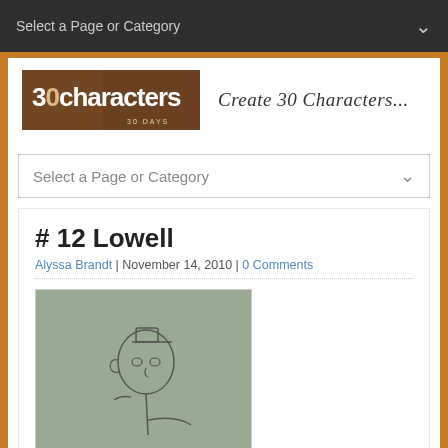Select a Page or Category
[Figure (logo): 30 Characters 30 Days logo with brown background and text '30characters']
Create 30 Characters...
Select a Page or Category
# 12 Lowell
Alyssa Brandt | November 14, 2010 | 0 Comments
[Figure (illustration): Pencil sketch of a simple cartoon face/character on grey-green paper]